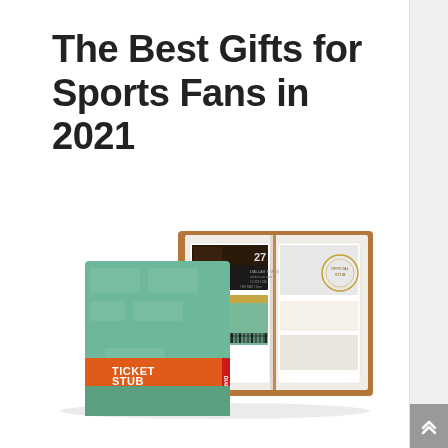The Best Gifts for Sports Fans in 2021
[Figure (photo): A Ticket Stub Diary product shown closed (green cover with orange band labeled 'TICKET STUB DIARY' and a blue label sticker) and open (showing stored ticket stubs inserted into brown leather-style pages), displayed on a white background.]